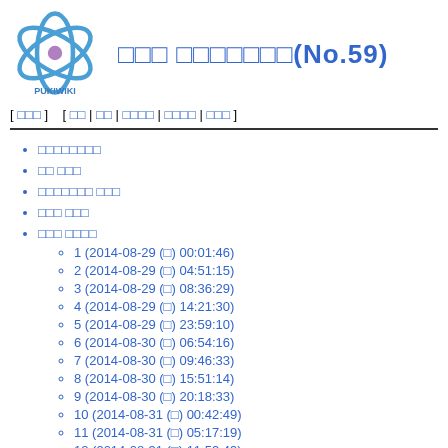[Figure (logo): PukiWiki logo - blue atomic/orbital symbol with purple center and PUKIWIKI text below]
□□□ □□□□□□□(No.59)
[ □□□ ]   [ □□ | □□ | □□□□ | □□□□ | □□□ ]
□□□□□□□□
□□ □□□
□□□□□□□ □□□
□□□ □□□
□□□ □□□□
1 (2014-08-29 (□) 00:01:46)
2 (2014-08-29 (□) 04:51:15)
3 (2014-08-29 (□) 08:36:29)
4 (2014-08-29 (□) 14:21:30)
5 (2014-08-29 (□) 23:59:10)
6 (2014-08-30 (□) 06:54:16)
7 (2014-08-30 (□) 09:46:33)
8 (2014-08-30 (□) 15:51:14)
9 (2014-08-30 (□) 20:18:33)
10 (2014-08-31 (□) 00:42:49)
11 (2014-08-31 (□) 05:17:19)
12 (2014-08-31 (□) 11:53:49)